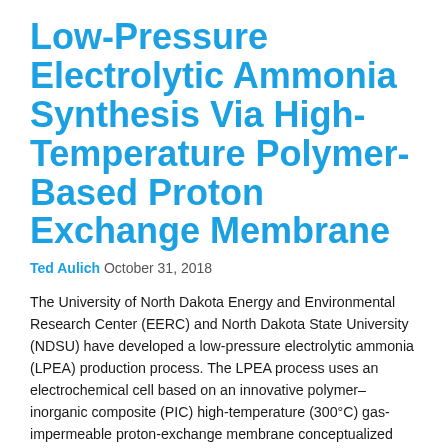Low-Pressure Electrolytic Ammonia Synthesis Via High-Temperature Polymer-Based Proton Exchange Membrane
Ted Aulich October 31, 2018
The University of North Dakota Energy and Environmental Research Center (EERC) and North Dakota State University (NDSU) have developed a low-pressure electrolytic ammonia (LPEA) production process. The LPEA process uses an electrochemical cell based on an innovative polymer–inorganic composite (PIC) high-temperature (300°C) gas-impermeable proton-exchange membrane conceptualized and partially developed by EERC and NDSU. Because of its operability at ambient pressure and quick start-up capability (versus traditional high-pressure Haber Bosch-based plants), the LPEA process offers compatibility with smaller-scale plants and intermittent operation, and a cost-effective means of monetizing (and storing) renewable